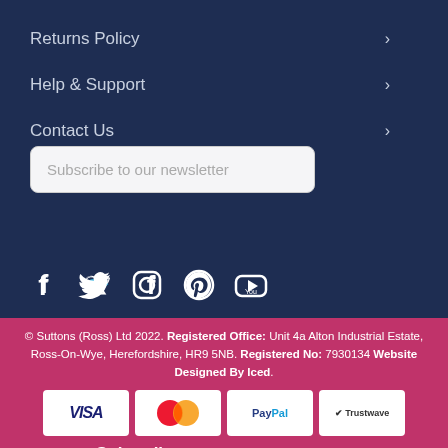Returns Policy
Help & Support
Contact Us
Subscribe to our newsletter
Subscribe
[Figure (illustration): Social media icons: Facebook, Twitter, Instagram, Pinterest, YouTube]
© Suttons (Ross) Ltd 2022. Registered Office: Unit 4a Alton Industrial Estate, Ross-On-Wye, Herefordshire, HR9 5NB. Registered No: 7930134 Website Designed By Iced.
[Figure (infographic): Payment method logos: VISA, Mastercard, PayPal, Trustwave]